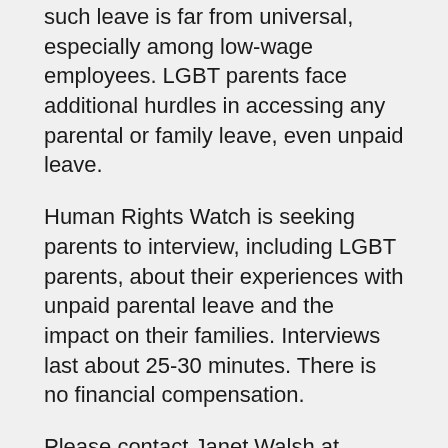such leave is far from universal, especially among low-wage employees. LGBT parents face additional hurdles in accessing any parental or family leave, even unpaid leave.
Human Rights Watch is seeking parents to interview, including LGBT parents, about their experiences with unpaid parental leave and the impact on their families. Interviews last about 25-30 minutes. There is no financial compensation.
Please contact Janet Walsh at walshj@hrw.org if you have experienced parental leave with limited or no pay from an employer and are